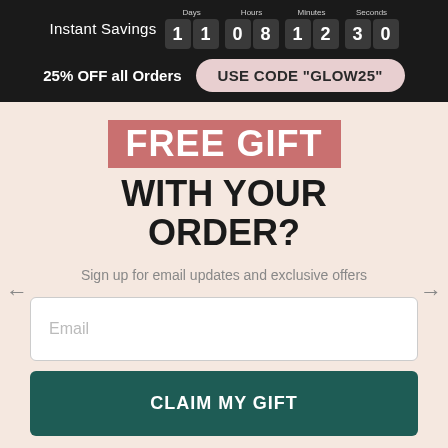Instant Savings  11  08  12  30  Days Hours Minutes Seconds
25% OFF all Orders  USE CODE "GLOW25"
FREE GIFT WITH YOUR ORDER?
Sign up for email updates and exclusive offers
Email
CLAIM MY GIFT
I'll Pass